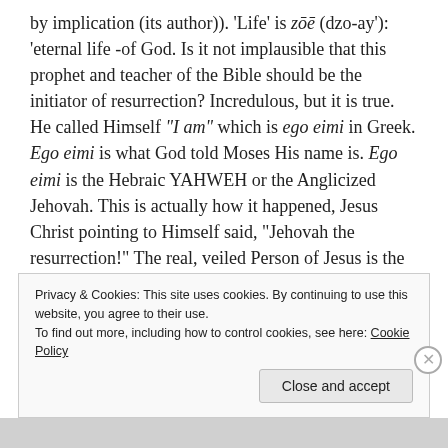by implication (its author)). 'Life' is zōē (dzo-ay'): 'eternal life -of God. Is it not implausible that this prophet and teacher of the Bible should be the initiator of resurrection? Incredulous, but it is true. He called Himself "I am" which is ego eimi in Greek. Ego eimi is what God told Moses His name is. Ego eimi is the Hebraic YAHWEH or the Anglicized Jehovah. This is actually how it happened, Jesus Christ pointing to Himself said, "Jehovah the resurrection!" The real, veiled Person of Jesus is the Christ, who wields the epithetical, "which is, and which was, and which is to come, the Almighty."
Amen.
Privacy & Cookies: This site uses cookies. By continuing to use this website, you agree to their use.
To find out more, including how to control cookies, see here: Cookie Policy
Close and accept